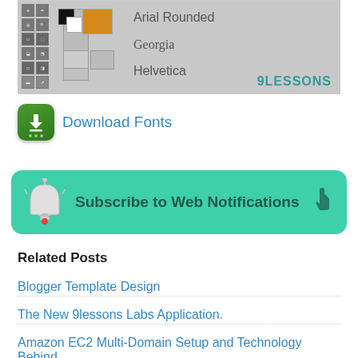[Figure (screenshot): Photoshop-like toolbar with tool icons on the left, color swatches in the center, and font name list showing Arial Rounded, Georgia, Helvetica on a gray background with 9LESSONS brand mark]
Download Fonts
[Figure (infographic): Green rounded rectangle button with bell icon on left, text 'Subscribe to Web Notifications', and cursor/hand icon on right]
Related Posts
Blogger Template Design
The New 9lessons Labs Application.
Amazon EC2 Multi-Domain Setup and Technology Behind